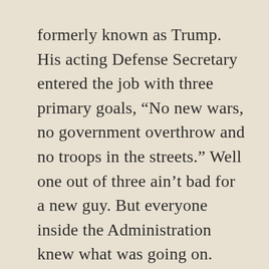formerly known as Trump. His acting Defense Secretary entered the job with three primary goals, “No new wars, no government overthrow and no troops in the streets.” Well one out of three ain’t bad for a new guy. But everyone inside the Administration knew what was going on. Everyone knew what was going on when Mike Flynn’s